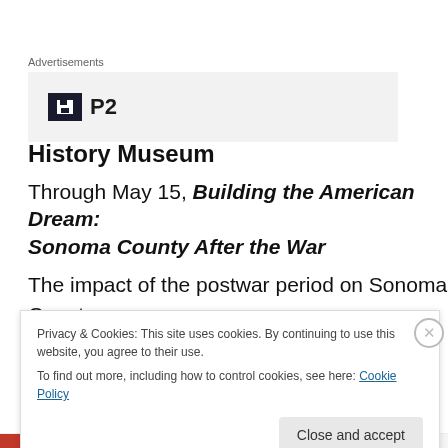Advertisements
[Figure (logo): Advertisement box with floppy disk icon and P2 text logo on gray background]
History Museum
Through May 15, Building the American Dream: Sonoma County After the War
The impact of the postwar period on Sonoma County cannot be overstated. From its agrarian roots, the county
Privacy & Cookies: This site uses cookies. By continuing to use this website, you agree to their use. To find out more, including how to control cookies, see here: Cookie Policy